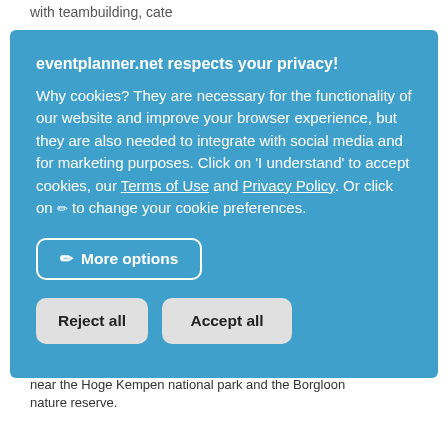with teambuilding, cate
eventplanner.net respects your privacy!
Why cookies? They are necessary for the functionality of our website and improve your browser experience, but they are also needed to integrate with social media and for marketing purposes. Click on 'I understand' to accept cookies, our Terms of Use and Privacy Policy. Or click on ✏ to change your cookie preferences.
More options
Reject all
Accept all
near the Hoge Kempen national park and the Borgloon nature reserve.